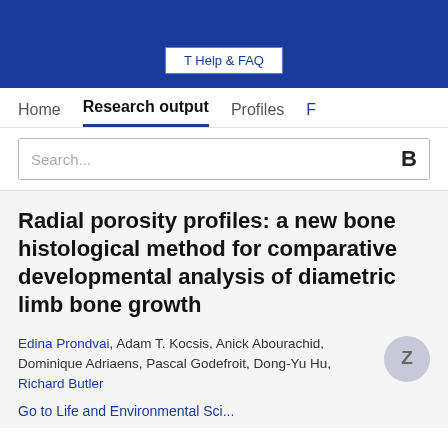T Help & FAQ
Home  Research output  Profiles  F
Search...
Radial porosity profiles: a new bone histological method for comparative developmental analysis of diametric limb bone growth
Edina Prondvai, Adam T. Kocsis, Anick Abourachid, Dominique Adriaens, Pascal Godefroit, Dong-Yu Hu, Richard Butler
Go to Life and Environmental Sci...